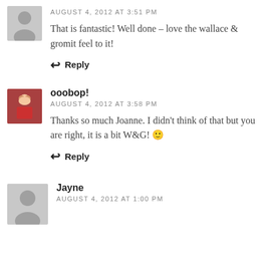[Figure (illustration): Gray placeholder avatar silhouette for anonymous commenter]
AUGUST 4, 2012 AT 3:51 PM
That is fantastic! Well done – love the wallace & gromit feel to it!
↩ Reply
[Figure (photo): Small photo avatar of ooobop user, person in red]
ooobop!
AUGUST 4, 2012 AT 3:58 PM
Thanks so much Joanne. I didn't think of that but you are right, it is a bit W&G! 🙂
↩ Reply
[Figure (illustration): Gray placeholder avatar silhouette for Jayne commenter]
Jayne
AUGUST 4, 2012 AT 1:00 PM